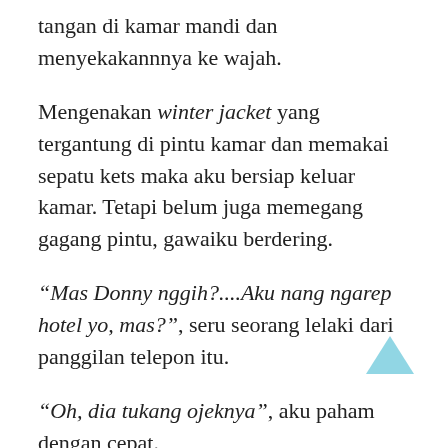tangan di kamar mandi dan menyekakannnya ke wajah.
Mengenakan winter jacket yang tergantung di pintu kamar dan memakai sepatu kets maka aku bersiap keluar kamar. Tetapi belum juga memegang gagang pintu, gawaiku berdering.
“Mas Donny nggih?....Aku nang ngarep hotel yo, mas?”, seru seorang lelaki dari panggilan telepon itu.
“Oh, dia tukang ojeknya”, aku paham dengan cepat.
Maka aku pun menuju lobby dan resepsionis setengah baya yang tertidur di sofa pun bergegas bangkit melihat kedatanganku.